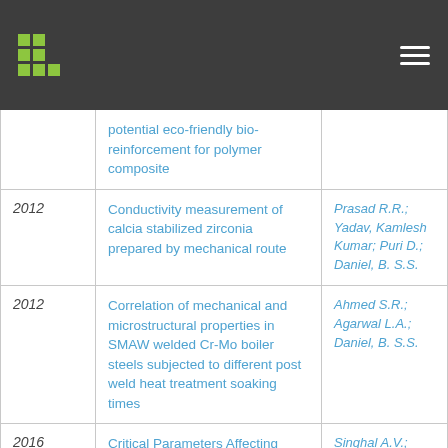| Year | Title | Authors |
| --- | --- | --- |
|  | potential eco-friendly bio-reinforcement for polymer composite |  |
| 2012 | Conductivity measurement of calcia stabilized zirconia prepared by mechanical route | Prasad R.R.; Yadav, Kamlesh Kumar; Puri D.; Daniel, B. S.S. |
| 2012 | Correlation of mechanical and microstructural properties in SMAW welded Cr-Mo boiler steels subjected to different post weld heat treatment soaking times | Ahmed S.R.; Agarwal L.A.; Daniel, B. S.S. |
| 2016 | Critical Parameters Affecting Mechanical Behavior of Natural Fiber Reinforced Plastics | Singhal A.V.; Debnath K.; Singh, Inderdeep; Daniel, B. S.S. |